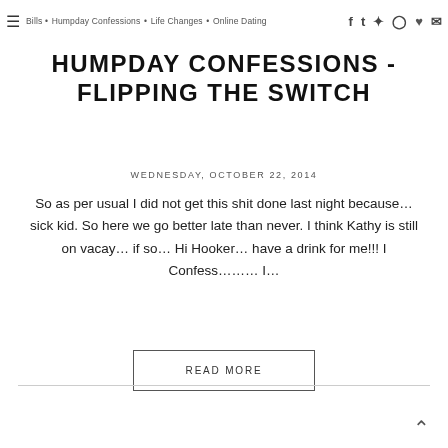Bills • Humpday Confessions • Life Changes • Online Dating
HUMPDAY CONFESSIONS - FLIPPING THE SWITCH
WEDNESDAY, OCTOBER 22, 2014
So as per usual I did not get this shit done last night because… sick kid. So here we go better late than never. I think Kathy is still on vacay… if so… Hi Hooker… have a drink for me!!! I Confess……… I…
READ MORE